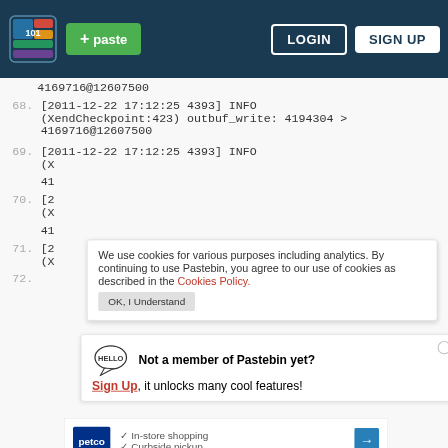[Figure (screenshot): Pastebin website screenshot showing navigation bar with logo, paste button, login and sign up buttons, code lines 68-72 with log entries, cookie consent banner, sign up notification, and advertisement]
+ paste  LOGIN  SIGN UP
4169716@12607500
68. [2011-12-22 17:12:25 4393] INFO (XendCheckpoint:423) outbuf_write: 4194304 > 4169716@12607500
69. [2011-12-22 17:12:25 4393] INFO (X... 41...
70. [2 (X...
We use cookies for various purposes including analytics. By continuing to use Pastebin, you agree to our use of cookies as described in the Cookies Policy.
Not a member of Pastebin yet? Sign Up, it unlocks many cool features!
71. [2 (X 41
72.
[Figure (photo): Petco advertisement showing in-store shopping and curbside pickup]